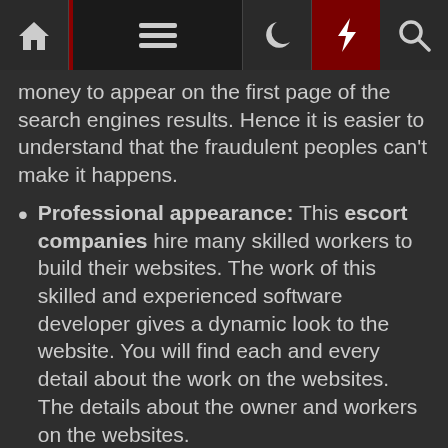Navigation bar with home, menu, moon/dark mode, bolt, and search icons
money to appear on the first page of the search engines results. Hence it is easier to understand that the fraudulent peoples can't make it happens.
Professional appearance: This escort companies hire many skilled workers to build their websites. The work of this skilled and experienced software developer gives a dynamic look to the website. You will find each and every detail about the work on the websites. The details about the owner and workers on the websites.
Use an escort directory: An escort directory will always lead you to the genuine and best Delhi escorts service The directory will give you the result